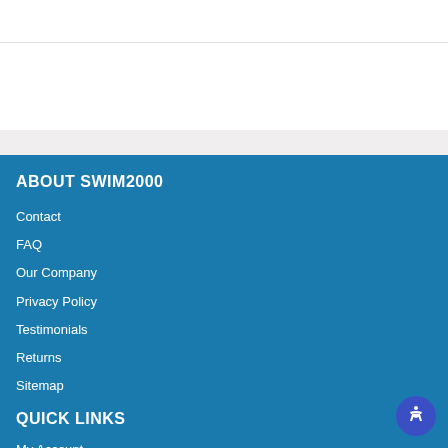ABOUT SWIM2000
Contact
FAQ
Our Company
Privacy Policy
Testimonials
Returns
Sitemap
QUICK LINKS
My Account